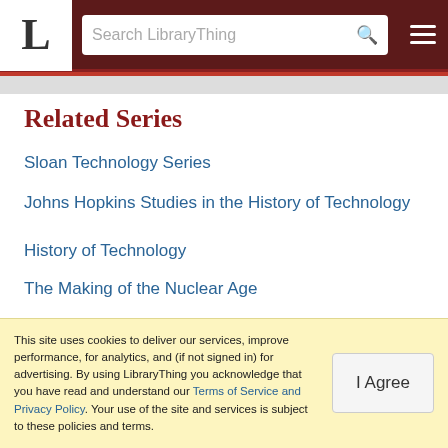[Figure (screenshot): LibraryThing website header with logo 'L', search bar placeholder 'Search LibraryThing', and hamburger menu icon on dark maroon background]
Related Series
Sloan Technology Series
Johns Hopkins Studies in the History of Technology
History of Technology
The Making of the Nuclear Age
Great Achievements in American History
The Myth of the Machine
This site uses cookies to deliver our services, improve performance, for analytics, and (if not signed in) for advertising. By using LibraryThing you acknowledge that you have read and understand our Terms of Service and Privacy Policy. Your use of the site and services is subject to these policies and terms.